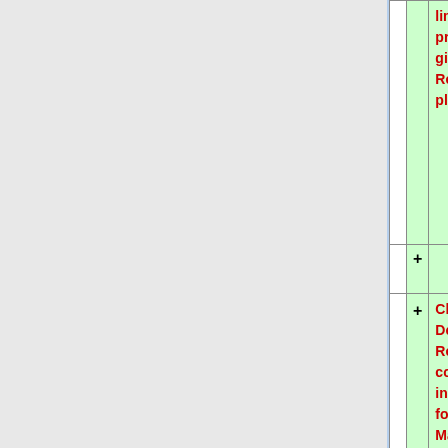|  | + | Content |
| --- | --- | --- |
|  |  | limit on this process, but the 3 gig limit for the Resources is still in place. |
|  | + |  |
|  | + | Click '"Upload-Download Multiple Resources'" for complete instructions except for Windows 7 and Mac Snow Leopard operating systems. |
|  | + |  |
|  | + | ===Create a Webdav on a Windows 7 machine=== |
|  | + | -- [[User:Rnarasi|Nara |